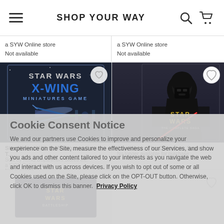SHOP YOUR WAY
a SYW Online store
Not available
a SYW Online store
Not available
[Figure (photo): Star Wars X-Wing Miniatures Game box art showing X-Wing and TIE Fighter spacecraft]
[Figure (photo): Star Wars: The Complete Saga DVD/Blu-ray box set featuring Darth Vader and a red lightsaber]
Star Wars X-Wing Miniatures Game T...
Sold by Kohls Department Stores Inc.
a SYW Online store
Not available
Star Wars: The Complete Saga
No longer available for purchase
Cookie Consent Notice
We and our partners use Cookies to improve and personalize your experience on the Site, measure the effectiveness of our Services, and show you ads and other content tailored to your interests as you navigate the web and interact with us across devices. If you wish to opt out of some or all Cookies used on the Site, please click on the OPT-OUT button. Otherwise, click OK to dismiss this banner. Privacy Policy
[Figure (photo): Star Wars Battleship board game box (partially visible at bottom)]